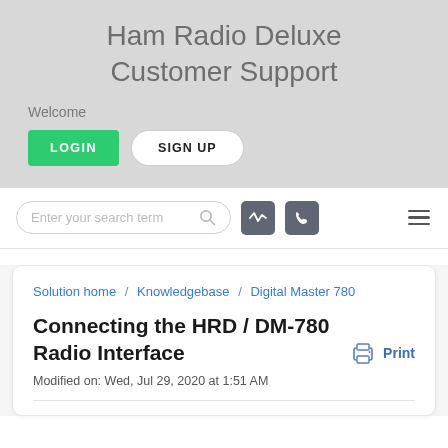Ham Radio Deluxe Customer Support
Welcome
LOGIN   SIGN UP
[Figure (screenshot): Search bar with search icon, two dark icon buttons (activity and phone), and a hamburger menu icon]
Solution home / Knowledgebase / Digital Master 780
Connecting the HRD / DM-780 Radio Interface
Modified on: Wed, Jul 29, 2020 at 1:51 AM